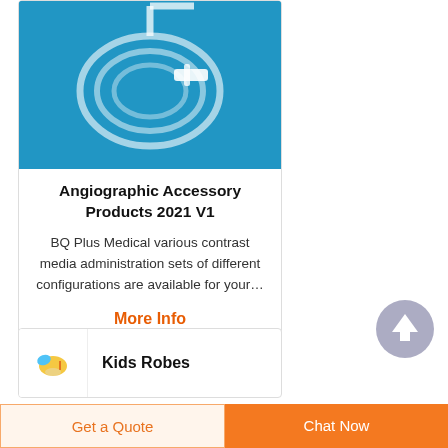[Figure (photo): Medical tubing / contrast media administration set coiled on a blue background]
Angiographic Accessory Products 2021 V1
BQ Plus Medical various contrast media administration sets of different configurations are available for your…
More Info
[Figure (logo): Kids Robes logo with a bird/crane illustration]
Kids Robes
Get a Quote
Chat Now